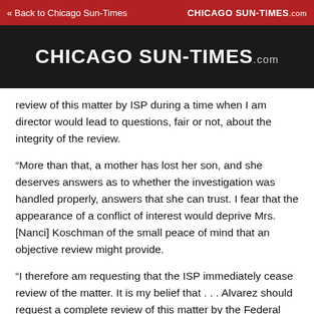« Back to Chicago Sun-Times   CHICAGO SUN-TIMES.com
[Figure (logo): Chicago Sun-Times .com logo in white text on dark background]
review of this matter by ISP during a time when I am director would lead to questions, fair or not, about the integrity of the review.
“More than that, a mother has lost her son, and she deserves answers as to whether the investigation was handled properly, answers that she can trust. I fear that the appearance of a conflict of interest would deprive Mrs. [Nanci] Koschman of the small peace of mind that an objective review might provide.
“I therefore am requesting that the ISP immediately cease review of the matter. It is my belief that . . . Alvarez should request a complete review of this matter by the Federal